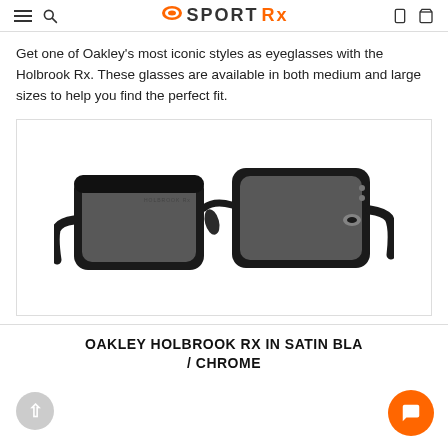SportRx — navigation header with menu, search, phone, cart icons
Get one of Oakley's most iconic styles as eyeglasses with the Holbrook Rx. These glasses are available in both medium and large sizes to help you find the perfect fit.
[Figure (photo): Photo of Oakley Holbrook Rx eyeglasses in Satin Black / Chrome, shown at a 3/4 angle on a white background. The frames are thick, squared, black plastic with silver Oakley logo on the temple.]
OAKLEY HOLBROOK RX IN SATIN BLA... / CHROME